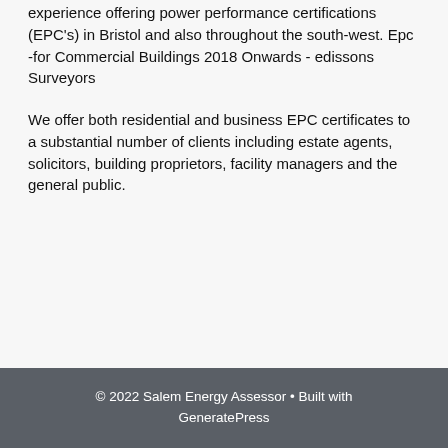experience offering power performance certifications (EPC's) in Bristol and also throughout the south-west. Epc -for Commercial Buildings 2018 Onwards - edissons Surveyors
We offer both residential and business EPC certificates to a substantial number of clients including estate agents, solicitors, building proprietors, facility managers and the general public.
© 2022 Salem Energy Assessor • Built with GeneratePress